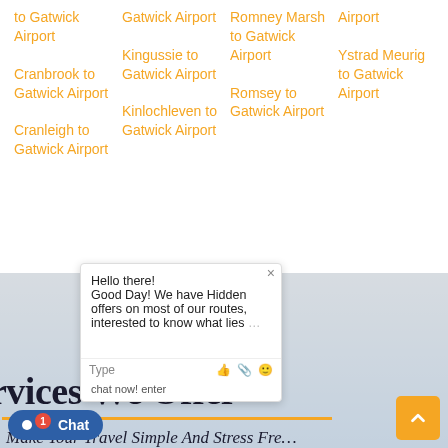to Gatwick Airport
Cranbrook to Gatwick Airport
Cranleigh to Gatwick Airport
Gatwick Airport
Kingussie to Gatwick Airport
Kinlochleven to Gatwick Airport
Romney Marsh to Gatwick Airport
Romsey to Gatwick Airport
Airport
Ystrad Meurig to Gatwick Airport
[Figure (screenshot): Chat popup widget with text: Hello there! Good Day! We have Hidden offers on most of our routes, interested to know what lies... with Type input bar and emoji/attachment icons]
rvices We Offer
Make Your Travel Simple And Stress Fre...